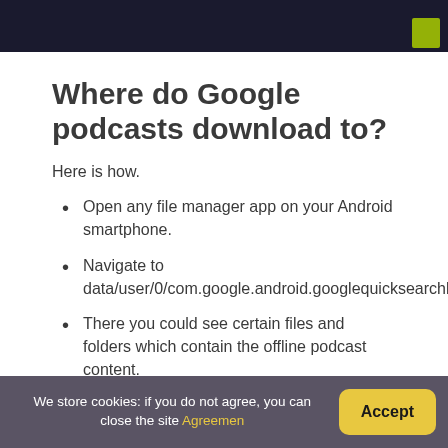[Figure (photo): Dark background image with a yellow-green high-visibility jacket accent visible at the top right corner]
Where do Google podcasts download to?
Here is how.
Open any file manager app on your Android smartphone.
Navigate to data/user/0/com.google.android.googlequicksearchb
There you could see certain files and folders which contain the offline podcast content.
We store cookies: if you do not agree, you can close the site Agreemen
Accept